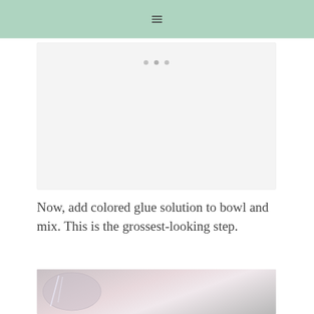[Figure (other): Navigation header bar with hamburger menu icon on mint/sage green background]
[Figure (other): Image placeholder with three dots indicating a loading or carousel image]
Now, add colored glue solution to bowl and mix. This is the grossest-looking step.
[Figure (photo): Partial photo of a bowl with a pink/light colored liquid mixture visible at the bottom of the page]